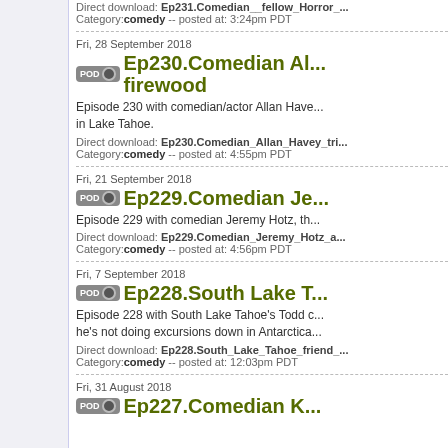Direct download: Ep231.Comedian__fellow_Horror_...
Category: comedy -- posted at: 3:24pm PDT
Fri, 28 September 2018
Ep230.Comedian Al... firewood
Episode 230 with comedian/actor Allan Have... in Lake Tahoe.
Direct download: Ep230.Comedian_Allan_Havey_tri...
Category: comedy -- posted at: 4:55pm PDT
Fri, 21 September 2018
Ep229.Comedian Je...
Episode 229 with comedian Jeremy Hotz, th...
Direct download: Ep229.Comedian_Jeremy_Hotz_a...
Category: comedy -- posted at: 4:56pm PDT
Fri, 7 September 2018
Ep228.South Lake T...
Episode 228 with South Lake Tahoe's Todd c... he's not doing excursions down in Antarctica...
Direct download: Ep228.South_Lake_Tahoe_friend_...
Category: comedy -- posted at: 12:03pm PDT
Fri, 31 August 2018
Ep227.Comedian K...